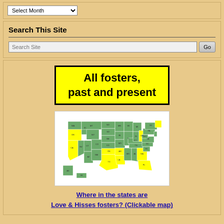Select Month
Search This Site
Search Site | Go
All fosters, past and present
[Figure (map): A clickable map of the United States showing states highlighted in yellow and green/teal, indicating where Love & Hisses fosters are located. Some states are yellow and some are green.]
Where in the states are Love & Hisses fosters? (Clickable map)